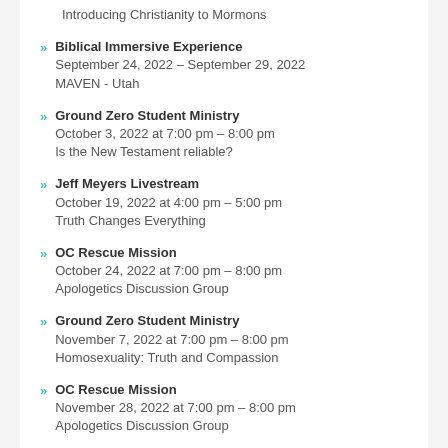Introducing Christianity to Mormons
Biblical Immersive Experience
September 24, 2022 – September 29, 2022
MAVEN - Utah
Ground Zero Student Ministry
October 3, 2022 at 7:00 pm – 8:00 pm
Is the New Testament reliable?
Jeff Meyers Livestream
October 19, 2022 at 4:00 pm – 5:00 pm
Truth Changes Everything
OC Rescue Mission
October 24, 2022 at 7:00 pm – 8:00 pm
Apologetics Discussion Group
Ground Zero Student Ministry
November 7, 2022 at 7:00 pm – 8:00 pm
Homosexuality: Truth and Compassion
OC Rescue Mission
November 28, 2022 at 7:00 pm – 8:00 pm
Apologetics Discussion Group
Ground Zero Student Ministry
January 2, 2023 at 7:00 pm – 8:00 pm